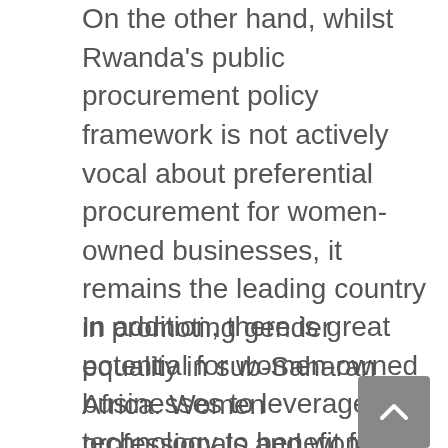On the other hand, whilst Rwanda's public procurement policy framework is not actively vocal about preferential procurement for women-owned businesses, it remains the leading country in promoting gender equality in sub-Saharan Africa. Women professionals and women-owned businesses lead spheres of Rwandan public life, including in business. In fact, a recent UN Women study of Rwanda finds no significant differences between men's and women's participation in business.
In addition, there is great potential for women-owned businesses to leverage technology to benefit from Africa's industrial development under the AfCTA. Technology and innovation are and will